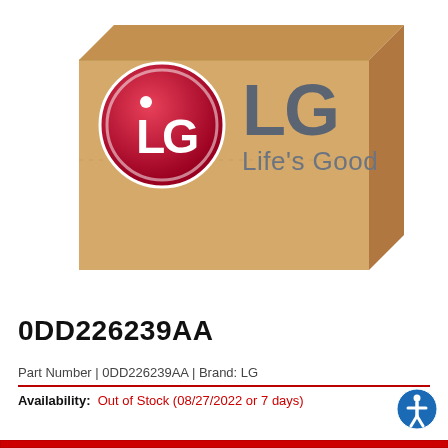[Figure (illustration): LG branded cardboard shipping box with LG logo (red circle with LG letters) and text 'LG' and 'Life's Good' on the front face of the box.]
0DD226239AA
Part Number | 0DD226239AA | Brand: LG
Availability: Out of Stock (08/27/2022 or 7 days)